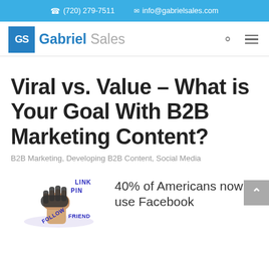(720) 279-7511   info@gabrielsales.com
[Figure (logo): Gabriel Sales logo with blue GS box and company name]
Viral vs. Value – What is Your Goal With B2B Marketing Content?
B2B Marketing, Developing B2B Content, Social Media
[Figure (illustration): Thumb pointing up with social media labels LINK, PIN, FOLLOW, FRIEND]
40% of Americans now use Facebook